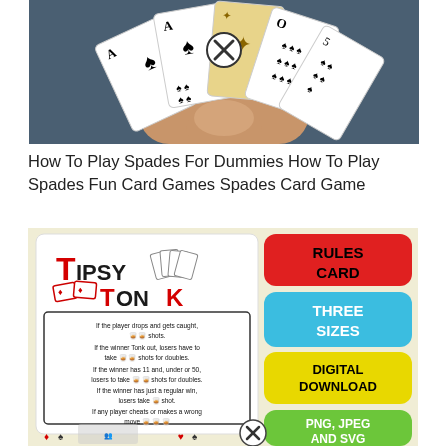[Figure (photo): A hand holding a fan of playing cards (spades) against a dark background, with a circular close/X button overlay in the center]
How To Play Spades For Dummies How To Play Spades Fun Card Games Spades Card Game
[Figure (infographic): Tipsy Tonk card game promotional image. Left panel shows a white card with 'TIPSY TONK' title and rules text about shots for various game outcomes. Right panel shows colored rounded rectangles with text: RULES CARD (red), THREE SIZES (blue), DIGITAL DOWNLOAD (yellow), PNG, JPEG AND SVG (green). Bottom has card suit symbols and player silhouettes.]